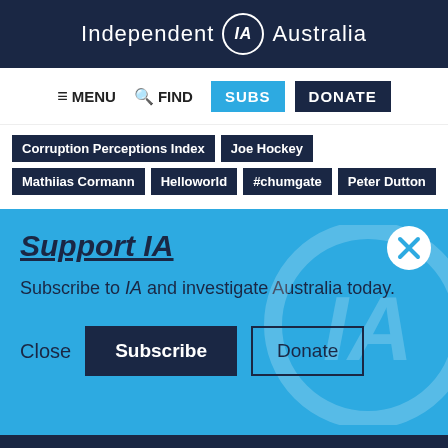Independent IA Australia
≡ MENU   🔍 FIND   SUBS   DONATE
Corruption Perceptions Index
Joe Hockey
Mathiias Cormann
Helloworld
#chumgate
Peter Dutton
Support IA
Subscribe to IA and investigate Australia today.
Close   Subscribe   Donate
Twitter  Facebook  LinkedIn  Flipboard  Link  More